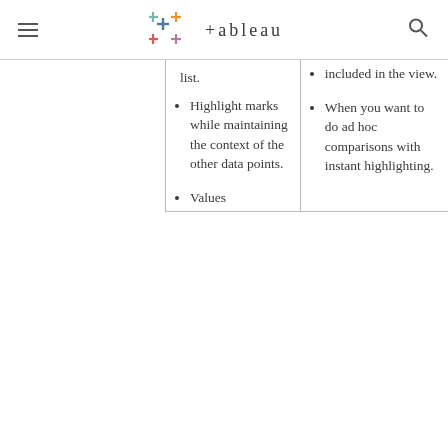Tableau navigation logo and search
list.
Highlight marks while maintaining the context of the other data points.
Values
included in the view.
When you want to do ad hoc comparisons with instant highlighting.